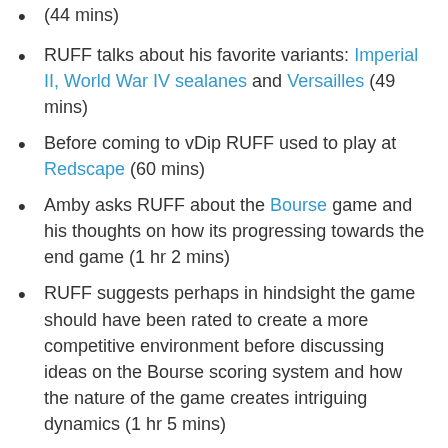(44 mins)
RUFF talks about his favorite variants: Imperial II, World War IV sealanes and Versailles (49 mins)
Before coming to vDip RUFF used to play at Redscape (60 mins)
Amby asks RUFF about the Bourse game and his thoughts on how its progressing towards the end game (1 hr 2 mins)
RUFF suggests perhaps in hindsight the game should have been rated to create a more competitive environment before discussing ideas on the Bourse scoring system and how the nature of the game creates intriguing dynamics (1 hr 5 mins)
Kaner asks RUFF on his variant preference for the next Bourse game (1 hr 15 mins)
Amby discusses how he likes YouCantHandleTheTruth's suggestion of using